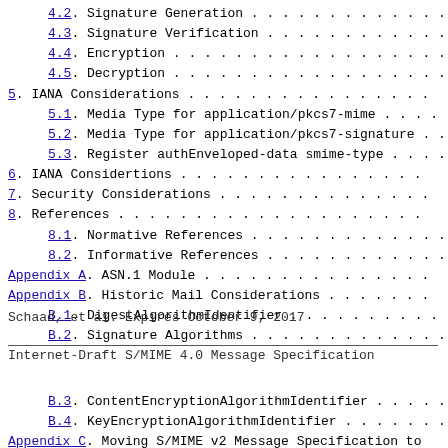4.2.  Signature Generation . . . . . . . . . . . . .
4.3.  Signature Verification . . . . . . . . . . . .
4.4.  Encryption . . . . . . . . . . . . . . . . . .
4.5.  Decryption . . . . . . . . . . . . . . . . . .
5.  IANA Considerations . . . . . . . . . . . . . . .
5.1.  Media Type for application/pkcs7-mime . . . . .
5.2.  Media Type for application/pkcs7-signature . .
5.3.  Register authEnveloped-data smime-type . . . .
6.  IANA Considertions . . . . . . . . . . . . . . .
7.  Security Considerations . . . . . . . . . . . . .
8.  References . . . . . . . . . . . . . . . . . . .
8.1.  Normative References . . . . . . . . . . . . .
8.2.  Informative References . . . . . . . . . . . .
Appendix A.  ASN.1 Module . . . . . . . . . . . . . .
Appendix B.  Historic Mail Considerations . . . . . .
B.1.  DigestAlgorithmIdentifier . . . . . . . . . . .
B.2.  Signature Algorithms . . . . . . . . . . . . .
Schaad, et al.          Expires October 9, 2017
Internet-Draft      S/MIME 4.0 Message Specification
B.3.  ContentEncryptionAlgorithmIdentifier . . . . .
B.4.  KeyEncryptionAlgorithmIdentifier . . . . . . .
Appendix C.  Moving S/MIME v2 Message Specification to Status